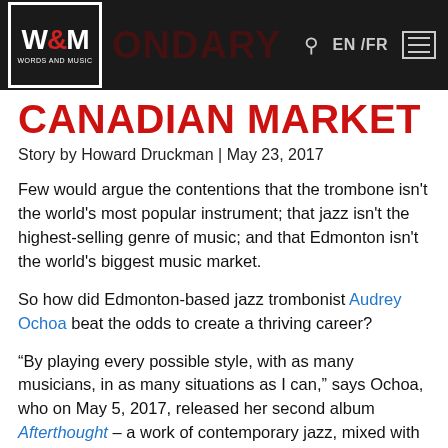W&M WORDS AND MUSIC | ONDARY | EN /FR
CANADIAN MARKET
Story by Howard Druckman | May 23, 2017
Few would argue the contentions that the trombone isn't the world's most popular instrument; that jazz isn't the highest-selling genre of music; and that Edmonton isn't the world's biggest music market.
So how did Edmonton-based jazz trombonist Audrey Ochoa beat the odds to create a thriving career?
"By playing every possible style, with as many musicians, in as many situations as I can," says Ochoa, who on May 5, 2017, released her second album Afterthought – a work of contemporary jazz, mixed with her Latin and funk influences. "I say 'yes' as often as possible – and enjoy